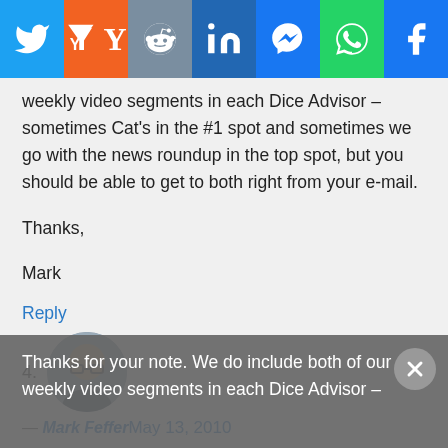[Figure (other): Social media share bar with icons for Twitter, Yahoo, Reddit, LinkedIn, Messenger, WhatsApp, Facebook]
weekly video segments in each Dice Advisor – sometimes Cat's in the #1 spot and sometimes we go with the news roundup in the top spot, but you should be able to get to both right from your e-mail.
Thanks,
Mark
Reply
4.
[Figure (photo): Avatar photo of a bald man with glasses]
— Mark Feffer May 13, 2010
Hi Andrew –
Thanks for your note. We do include both of our weekly video segments in each Dice Advisor – sometimes Cat's in the #1 spot and sometimes we go with the...